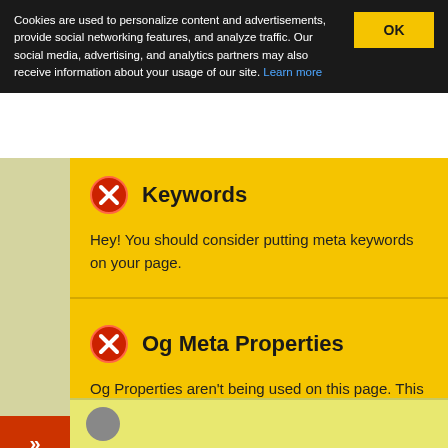Cookies are used to personalize content and advertisements, provide social networking features, and analyze traffic. Our social media, advertising, and analytics partners may also receive information about your usage of our site. Learn more
Keywords
Hey! You should consider putting meta keywords on your page.
Og Meta Properties
Og Properties aren't being used on this page. This tag helps social crawlers like facebook and twitter to structure your page more effectively.